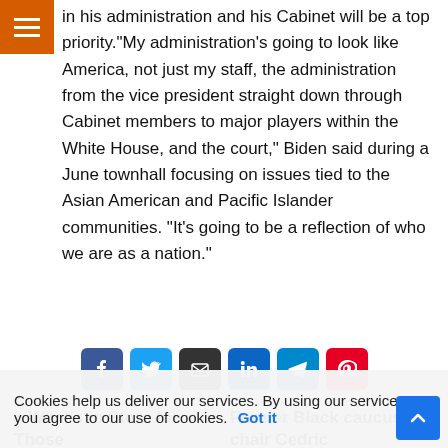in his administration and his Cabinet will be a top priority.“My administration’s going to look like America, not just my staff, the administration from the vice president straight down through Cabinet members to major players within the White House, and the court,” Biden said during a June townhall focusing on issues tied to the Asian American and Pacific Islander communities. “It’s going to be a reflection of who we are as a nation.”
[Figure (other): Social share buttons: Facebook, Twitter, Email, LinkedIn, Telegram, Pinterest]
« What’s in Store for Those
Former Black caucus chair Cedric
Cookies help us deliver our services. By using our services, you agree to our use of cookies. Got it